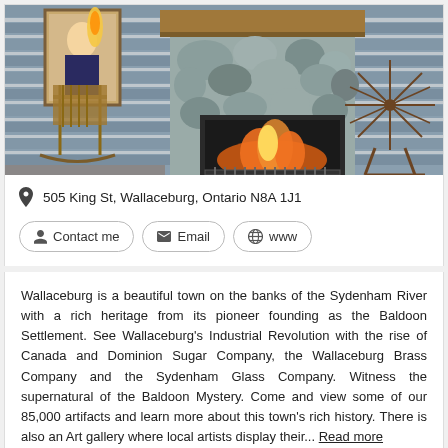[Figure (photo): Interior painting/illustration of a rustic log cabin room featuring a stone fireplace with fire, a rocking chair on the left, a spinning wheel on the right, and a portrait painting on the wall.]
505 King St, Wallaceburg, Ontario N8A 1J1
Contact me
Email
www
Wallaceburg is a beautiful town on the banks of the Sydenham River with a rich heritage from its pioneer founding as the Baldoon Settlement. See Wallaceburg's Industrial Revolution with the rise of Canada and Dominion Sugar Company, the Wallaceburg Brass Company and the Sydenham Glass Company. Witness the supernatural of the Baldoon Mystery. Come and view some of our 85,000 artifacts and learn more about this town's rich history. There is also an Art gallery where local artists display their... Read more